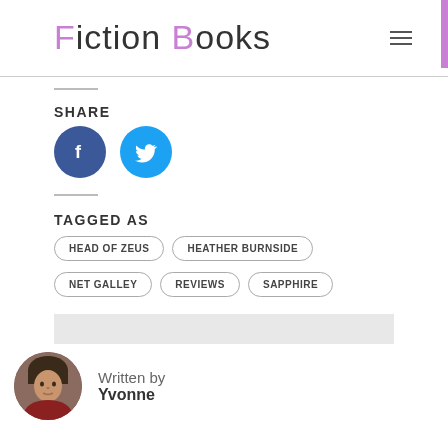Fiction Books
SHARE
[Figure (illustration): Facebook and Twitter social share buttons — blue circle icons with white f and bird logos]
TAGGED AS
HEAD OF ZEUS
HEATHER BURNSIDE
NET GALLEY
REVIEWS
SAPPHIRE
Written by
Yvonne